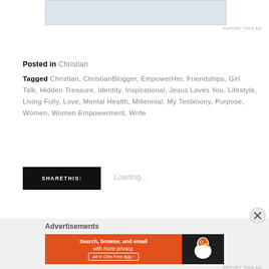[Figure (other): Advertisement placeholder banner at top of page]
REPORT THIS AD
Posted in Christian
Tagged Christian, ChristianBlogger, EmpowerHer, Friendships, Girl Talk, Hidden Treasure, Identity, Inspirational, Jesus Loves You, Lifestyle, Living Fully, Love, Mental Health, Millennial, My Testimony, Purpose, Women, Women Empowerment, Write
SHARETHIS:
Loading...
Advertisements
[Figure (other): DuckDuckGo advertisement banner: Search, browse, and email with more privacy. All in One Free App]
REPORT THIS AD